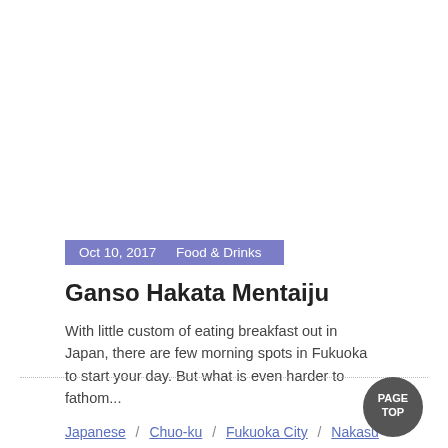Oct 10, 2017   Food & Drinks
Ganso Hakata Mentaiju
With little custom of eating breakfast out in Japan, there are few morning spots in Fukuoka to start your day. But what is even harder to fathom...
Japanese / Chuo-ku / Fukuoka City / Nakasu